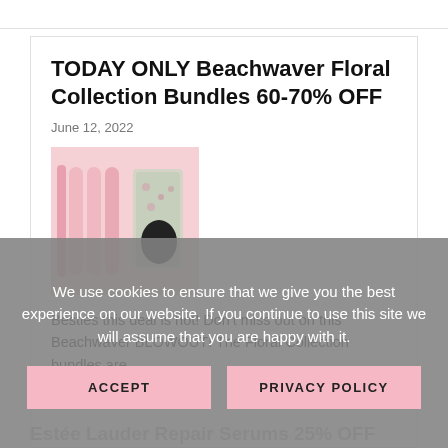TODAY ONLY Beachwaver Floral Collection Bundles 60-70% OFF
June 12, 2022
[Figure (photo): Beachwaver Floral Collection bundle products on a pink background including curling irons and accessories in a floral patterned case]
Besties this deal is hot! Don't miss out on this Beachwaver BLOWOUT! The Floral Collection bundles are
We use cookies to ensure that we give you the best experience on our website. If you continue to use this site we will assume that you are happy with it.
ACCEPT
PRIVACY POLICY
Estée Lauder Repair Serums 25% OFF